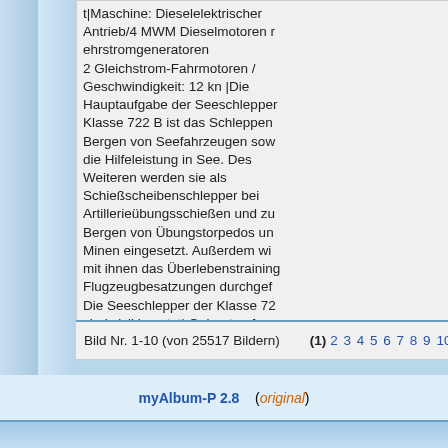t|Maschine: Dieselelektrischer Antrieb/4 MWM Dieselmotoren rehrstromgeneratoren 2 Gleichstrom-Fahrmotoren / Geschwindigkeit: 12 kn |Die Hauptaufgabe der Seeschlepper Klasse 722 B ist das Schleppen Bergen von Seefahrzeugen sow die Hilfeleistung in See. Des Weiteren werden sie als Schießscheibenschlepper bei Artillerieübungsschießen und zu Bergen von Übungstorpedos un Minen eingesetzt. Außerdem wi mit ihnen das Überlebenstraining Flugzeugbesatzungen durchgef Die Seeschlepper der Klasse 72 sind zivil besetzt| Gebaut auf Schichau Unterweser AG, Bremerhaven->Indienststellung: 1968
Bild Nr. 1-10 (von 25517 Bildern)    (1) 2 3 4 5 6 7 8 9 10 ...
myAlbum-P 2.8   (original)